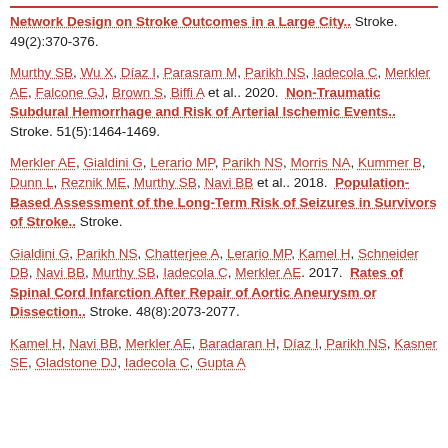Network Design on Stroke Outcomes in a Large City.. Stroke. 49(2):370-376.
Murthy SB, Wu X, Díaz I, Parasram M, Parikh NS, Iadecola C, Merkler AE, Falcone GJ, Brown S, Biffi A et al.. 2020. Non-Traumatic Subdural Hemorrhage and Risk of Arterial Ischemic Events.. Stroke. 51(5):1464-1469.
Merkler AE, Gialdini G, Lerario MP, Parikh NS, Morris NA, Kummer B, Dunn L, Reznik ME, Murthy SB, Navi BB et al.. 2018. Population-Based Assessment of the Long-Term Risk of Seizures in Survivors of Stroke.. Stroke.
Gialdini G, Parikh NS, Chatterjee A, Lerario MP, Kamel H, Schneider DB, Navi BB, Murthy SB, Iadecola C, Merkler AE. 2017. Rates of Spinal Cord Infarction After Repair of Aortic Aneurysm or Dissection.. Stroke. 48(8):2073-2077.
Kamel H, Navi BB, Merkler AE, Baradaran H, Díaz I, Parikh NS, Kasner SE, Gladstone DJ, Iadecola C, Gupta A...